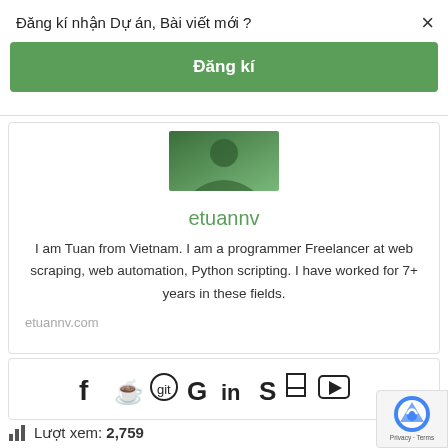Đăng kí nhận Dự án, Bài viết mới ?
×
Đăng kí
[Figure (photo): Partial profile photo of etuannv]
etuannv
I am Tuan from Vietnam. I am a programmer Freelancer at web scraping, web automation, Python scripting. I have worked for 7+ years in these fields.
etuannv.com
[Figure (infographic): Social media icons: Facebook, WhatsApp, GitHub, Google, LinkedIn, Skype, Stack Overflow, YouTube]
Lượt xem: 2,759
[Figure (logo): reCAPTCHA badge with Privacy and Terms text]